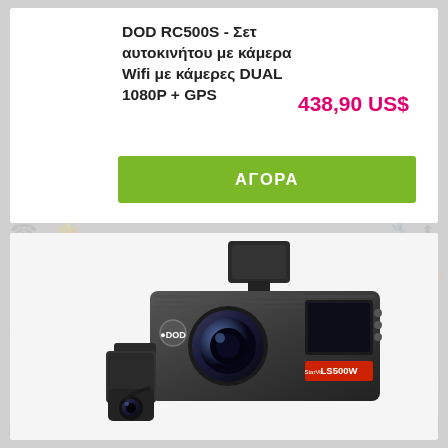DOD RC500S - Σετ αυτοκινήτου με κάμερα Wifi με κάμερες DUAL 1080P + GPS
438,90 US$
ΑΓΟΡΑ
[Figure (photo): DOD LS500W dual dashcam product photo showing main camera unit and rear camera, branded with DOD logo]